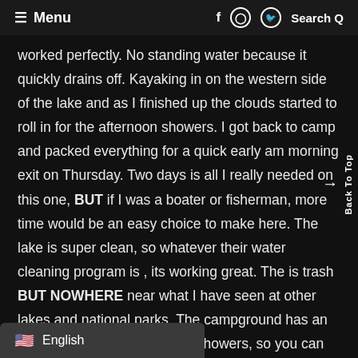≡ Menu  f  o  [twitter]  Search Q
worked perfectly. No standing water because it quickly drains off. Kayaking in on the western side of the lake and as I finished up the clouds started to roll in for the afternoon showers. I got back to camp and packed everything for a quick early am morning exit on Thursday. Two days is all I really needed on this one, BUT if I was a boater or fisherman, more time would be an easy choice to make here. The lake is super clean, so whatever their water cleaning program is , its working great. The is trash BUT NOWHERE near what I have seen at other lakes and national parks. The campground has an awesome bathroom with hot showers, so you can save on your water if need be. The showers are the best in the world but they get the job done,wish the water was a tado hotter and the would increase the value and make it stay on lon
Back To Top
🇺🇸 English